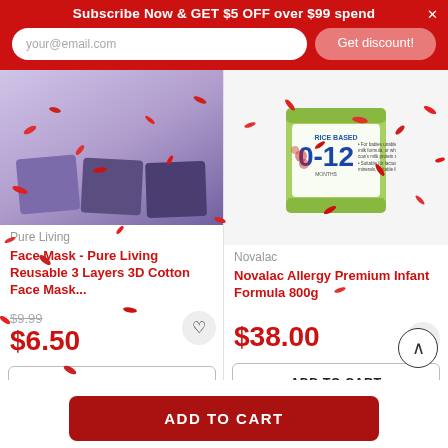Subscribe Now & GET $5 OFF over $99 spend
your@email.com
Get discount!
[Figure (screenshot): Product listing page showing two products: Face Mask and Novalac formula, with confetti overlay]
Pure Living
Face Mask - Pure Living Reusable 3 Layers 3D Cotton Face Mask...
Novalac
Novalac Allergy Premium Infant Formula 800g
$9.99
$6.50
$38.00
SELECT OPTIONS
ADD TO CART
ADD TO CART